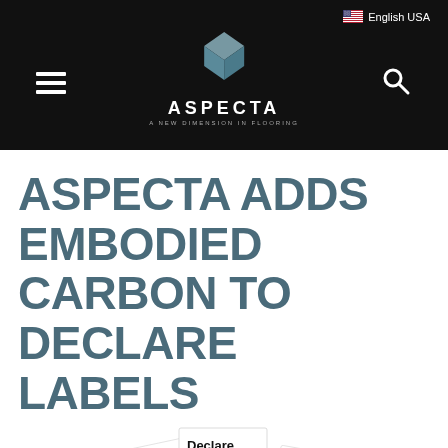English USA
[Figure (logo): Aspecta logo — geometric diamond/cube shape above text ASPECTA and tagline A NEW DIMENSION IN FLOORING, on black header bar]
ASPECTA ADDS EMBODIED CARBON TO DECLARE LABELS
[Figure (photo): Three overlapping Declare label cards fanned out, each showing 'Declare.' in bold text with fine print below]